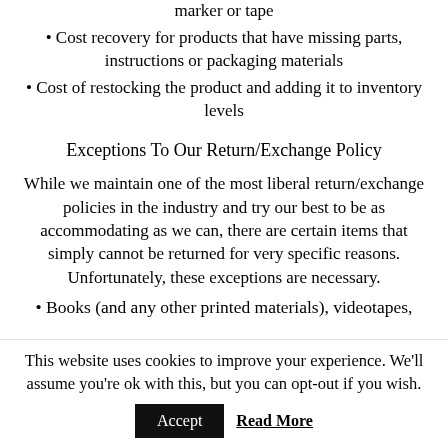marker or tape
• Cost recovery for products that have missing parts, instructions or packaging materials
• Cost of restocking the product and adding it to inventory levels
Exceptions To Our Return/Exchange Policy
While we maintain one of the most liberal return/exchange policies in the industry and try our best to be as accommodating as we can, there are certain items that simply cannot be returned for very specific reasons. Unfortunately, these exceptions are necessary.
• Books (and any other printed materials), videotapes,
This website uses cookies to improve your experience. We'll assume you're ok with this, but you can opt-out if you wish.